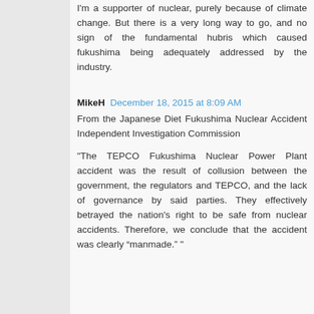I'm a supporter of nuclear, purely because of climate change. But there is a very long way to go, and no sign of the fundamental hubris which caused fukushima being adequately addressed by the industry.
MikeH  December 18, 2015 at 8:09 AM
From the Japanese Diet Fukushima Nuclear Accident Independent Investigation Commission
"The TEPCO Fukushima Nuclear Power Plant accident was the result of collusion between the government, the regulators and TEPCO, and the lack of governance by said parties. They effectively betrayed the nation's right to be safe from nuclear accidents. Therefore, we conclude that the accident was clearly “manmade.” "